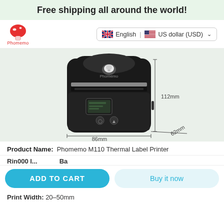Free shipping all around the world!
[Figure (logo): Phomemo mushroom logo in red and white]
English | US dollar (USD)
[Figure (photo): Phomemo M110 Thermal Label Printer product photo with dimension annotations: 112mm height, 86mm depth, 62mm width]
Product Name: Phomemo M110 Thermal Label Printer
ADD TO CART
Buy it now
Print Width: 20–50mm